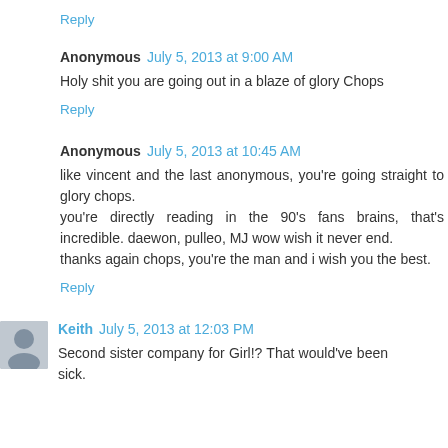Reply
Anonymous July 5, 2013 at 9:00 AM
Holy shit you are going out in a blaze of glory Chops
Reply
Anonymous July 5, 2013 at 10:45 AM
like vincent and the last anonymous, you're going straight to glory chops.
you're directly reading in the 90's fans brains, that's incredible. daewon, pulleo, MJ wow wish it never end.
thanks again chops, you're the man and i wish you the best.
Reply
Keith July 5, 2013 at 12:03 PM
Second sister company for Girl!? That would've been sick.